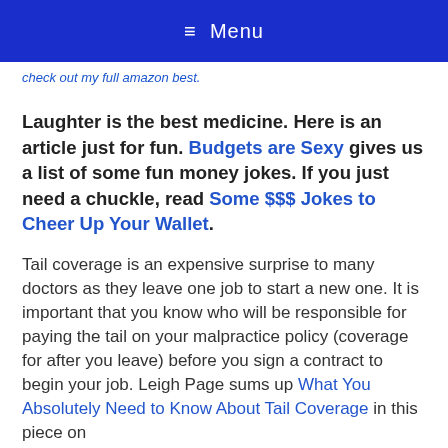≡ Menu
check out my full amazon best.
Laughter is the best medicine. Here is an article just for fun. Budgets are Sexy gives us a list of some fun money jokes. If you just need a chuckle, read Some $$$ Jokes to Cheer Up Your Wallet.
Tail coverage is an expensive surprise to many doctors as they leave one job to start a new one. It is important that you know who will be responsible for paying the tail on your malpractice policy (coverage for after you leave) before you sign a contract to begin your job. Leigh Page sums up What You Absolutely Need to Know About Tail Coverage in this piece on